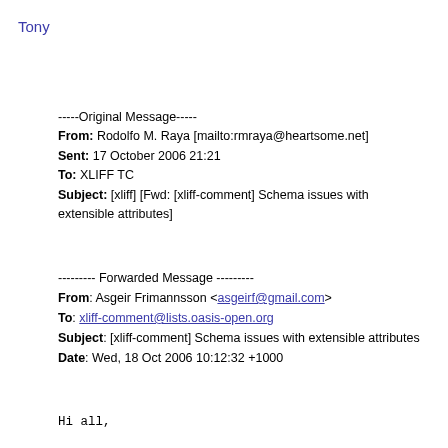Tony
-----Original Message-----
From: Rodolfo M. Raya [mailto:rmraya@heartsome.net]
Sent: 17 October 2006 21:21
To: XLIFF TC
Subject: [xliff] [Fwd: [xliff-comment] Schema issues with extensible attributes]
--------- Forwarded Message ---------
From: Asgeir Frimannsson <asgeirf@gmail.com>
To: xliff-comment@lists.oasis-open.org
Subject: [xliff-comment] Schema issues with extensible attributes
Date: Wed, 18 Oct 2006 10:12:32 +1000
Hi all,